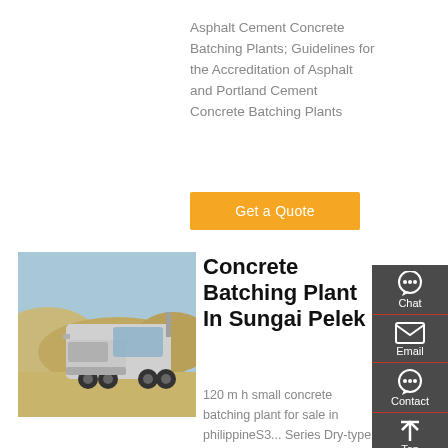Asphalt Cement Concrete Batching Plants; Guidelines for the Accreditation of Asphalt and Portland Cement Concrete Batching Plants
Get a Quote
[Figure (photo): A silver semi-truck cab without trailer parked on sandy/arid terrain with hills in background]
Concrete Batching Plant In Sungai Pelek
120 m h small concrete batching plant for sale in philippineS3... Series Dry-type Shaping and Sand Making Equipment. The